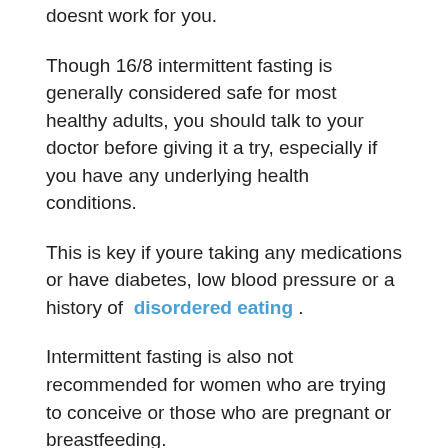doesnt work for you.
Though 16/8 intermittent fasting is generally considered safe for most healthy adults, you should talk to your doctor before giving it a try, especially if you have any underlying health conditions.
This is key if youre taking any medications or have diabetes, low blood pressure or a history of disordered eating .
Intermittent fasting is also not recommended for women who are trying to conceive or those who are pregnant or breastfeeding.
If you have any concerns or experience any adverse side effects while fasting, be sure to consult your doctor.
16/8 intermittent fasting involves eating only during an 8